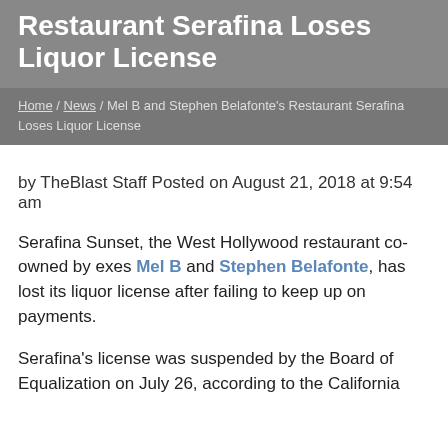Restaurant Serafina Loses Liquor License
Home / News / Mel B and Stephen Belafonte's Restaurant Serafina Loses Liquor License
by TheBlast Staff Posted on August 21, 2018 at 9:54 am
Serafina Sunset, the West Hollywood restaurant co-owned by exes Mel B and Stephen Belafonte, has lost its liquor license after failing to keep up on payments.
Serafina's license was suspended by the Board of Equalization on July 26, according to the California